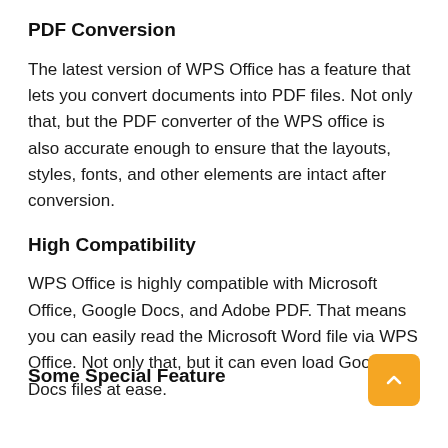PDF Conversion
The latest version of WPS Office has a feature that lets you convert documents into PDF files. Not only that, but the PDF converter of the WPS office is also accurate enough to ensure that the layouts, styles, fonts, and other elements are intact after conversion.
High Compatibility
WPS Office is highly compatible with Microsoft Office, Google Docs, and Adobe PDF. That means you can easily read the Microsoft Word file via WPS Office. Not only that, but it can even load Google Docs files at ease.
Some Special Feature